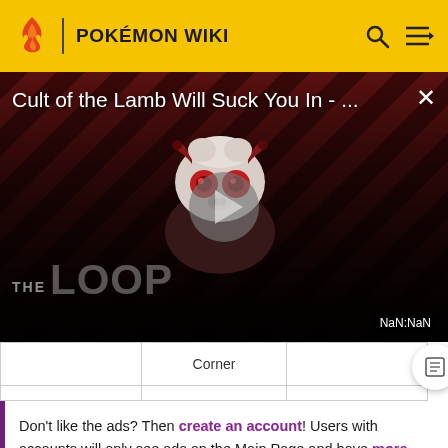POKÉMON WIKI
[Figure (screenshot): Video player showing 'Cult of the Lamb Will Suck You In - ...' with a play button, THE LOOP watermark, and NaN:NaN timestamp. Dark red diagonal striped background with a demon lamb character illustration.]
|  | Corner |  |
Don't like the ads? Then create an account! Users with accounts will only see ads on the Main Page and have more options than anonymous users.